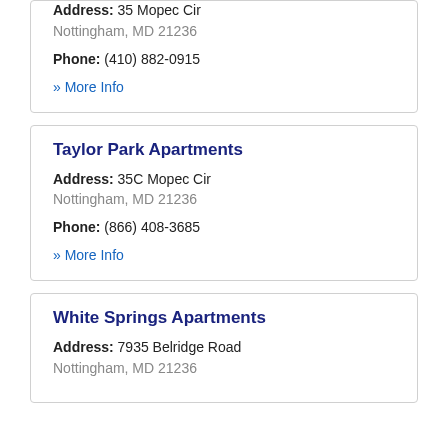Address: 35 Mopec Cir
Nottingham, MD 21236
Phone: (410) 882-0915
» More Info
Taylor Park Apartments
Address: 35C Mopec Cir
Nottingham, MD 21236
Phone: (866) 408-3685
» More Info
White Springs Apartments
Address: 7935 Belridge Road
Nottingham, MD 21236